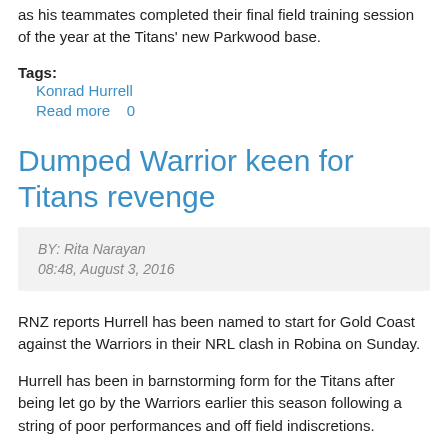as his teammates completed their final field training session of the year at the Titans' new Parkwood base.
Tags:
Konrad Hurrell
Read more   0
Dumped Warrior keen for Titans revenge
BY: Rita Narayan
08:48, August 3, 2016
RNZ reports Hurrell has been named to start for Gold Coast against the Warriors in their NRL clash in Robina on Sunday.
Hurrell has been in barnstorming form for the Titans after being let go by the Warriors earlier this season following a string of poor performances and off field indiscretions.